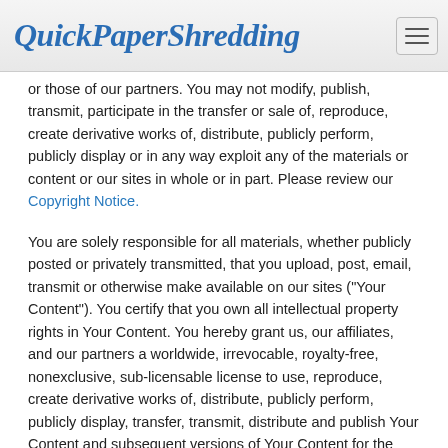QuickPaperShredding
or those of our partners. You may not modify, publish, transmit, participate in the transfer or sale of, reproduce, create derivative works of, distribute, publicly perform, publicly display or in any way exploit any of the materials or content or our sites in whole or in part. Please review our Copyright Notice.
You are solely responsible for all materials, whether publicly posted or privately transmitted, that you upload, post, email, transmit or otherwise make available on our sites ("Your Content"). You certify that you own all intellectual property rights in Your Content. You hereby grant us, our affiliates, and our partners a worldwide, irrevocable, royalty-free, nonexclusive, sub-licensable license to use, reproduce, create derivative works of, distribute, publicly perform, publicly display, transfer, transmit, distribute and publish Your Content and subsequent versions of Your Content for the purposes of (i) displaying Your Content on our sites, (ii) distributing Your Content, either electronically or via other media, to users seeking to download or